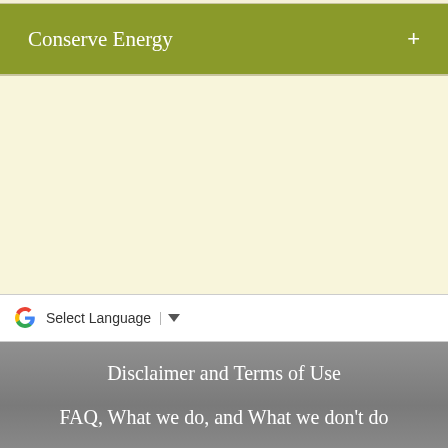Conserve Energy
[Figure (other): Google Translate widget with 'Select Language' dropdown button]
Disclaimer and Terms of Use
FAQ, What we do, and What we don't do